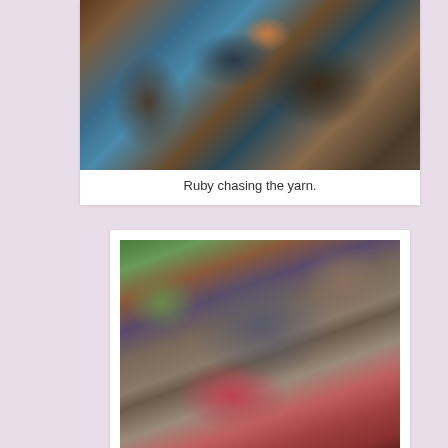[Figure (photo): A cat named Ruby playing with dark yarn/wool on a couch with floral fabric]
Ruby chasing the yarn.
[Figure (photo): A gray cat lying on pink fabric near red crochet work and a crochet hook, with striped green and brown fabric in background]